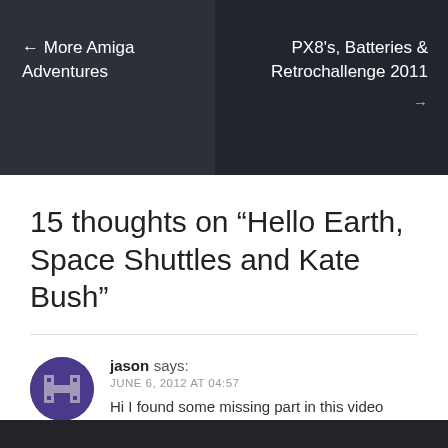← More Amiga Adventures
PX8's, Batteries & Retrochallenge 2011 →
15 thoughts on “Hello Earth, Space Shuttles and Kate Bush”
jason says:
JUNE 6, 2012 AT 04:57
Hi I found some missing part in this video STS-1 Landing – 2 (BBC)